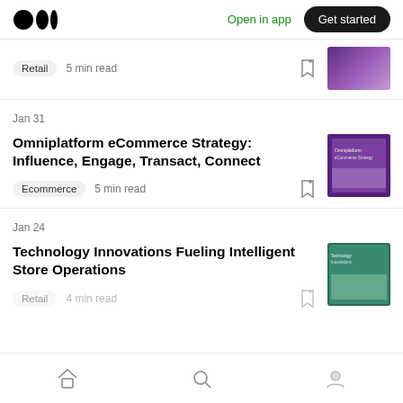Medium logo | Open in app | Get started
Retail  5 min read
Jan 31
Omniplatform eCommerce Strategy: Influence, Engage, Transact, Connect
Ecommerce  5 min read
Jan 24
Technology Innovations Fueling Intelligent Store Operations
Home | Search | Profile